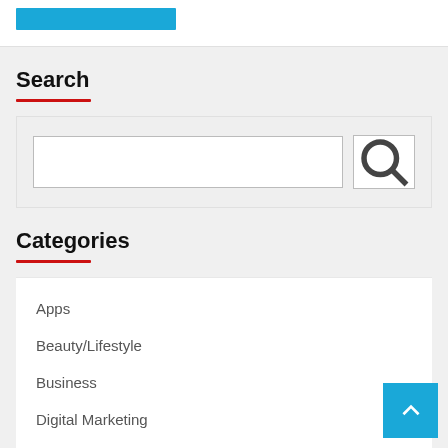[Figure (screenshot): Blue button element at top of page]
Search
[Figure (screenshot): Search input box with search icon button]
Categories
Apps
Beauty/Lifestyle
Business
Digital Marketing
Education